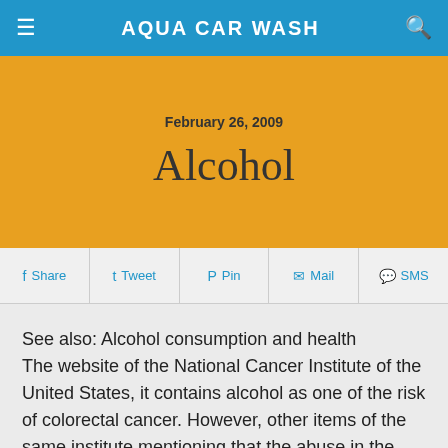AQUA CAR WASH
February 26, 2009
Alcohol
Share  Tweet  Pin  Mail  SMS
See also: Alcohol consumption and health
The website of the National Cancer Institute of the United States, it contains alcohol as one of the risk of colorectal cancer. However, other items of the same institute mentioning that the abuse in the consumption of alcohol may increase the health care